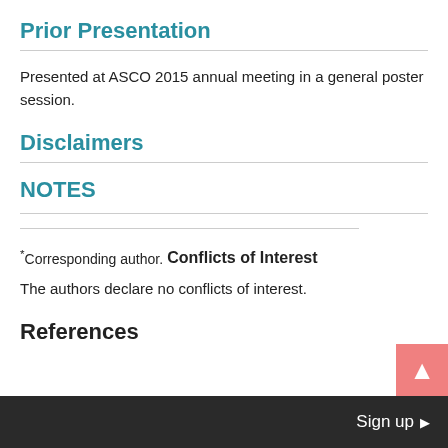Prior Presentation
Presented at ASCO 2015 annual meeting in a general poster session.
Disclaimers
NOTES
*Corresponding author.
Conflicts of Interest
The authors declare no conflicts of interest.
References
Sign up